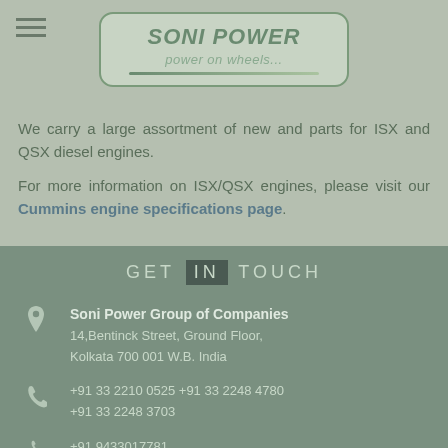[Figure (logo): Soni Power logo — rounded rectangle box with green italic text 'SONI POWER' and tagline 'power on wheels...']
We carry a large assortment of new and parts for ISX and QSX diesel engines.
For more information on ISX/QSX engines, please visit our Cummins engine specifications page.
GET IN TOUCH
Soni Power Group of Companies
14,Bentinck Street, Ground Floor,
Kolkata 700 001 W.B. India
+91 33 2210 0525 +91 33 2248 4780
+91 33 2248 3703
+91 9433017781